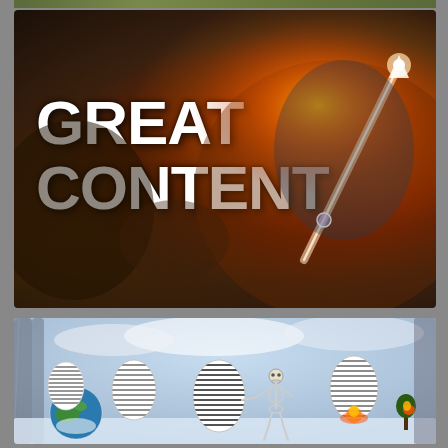[Figure (illustration): Dark background image of a person in a suit holding a smartphone and pointing at a glowing diagonal upward arrow made of light. Bold white text reads GREAT CONTENT overlaid on the image with an orange/amber light flare at the pointing fingertip.]
[Figure (illustration): Surreal composite illustration showing egg-shaped forms covered in printed book text floating in a cloudy sky landscape. A skeleton figure stands holding one of the text eggs. A globe of Earth sits in the lower left. Some eggs are on fire. Dark misty columns on the left edge.]